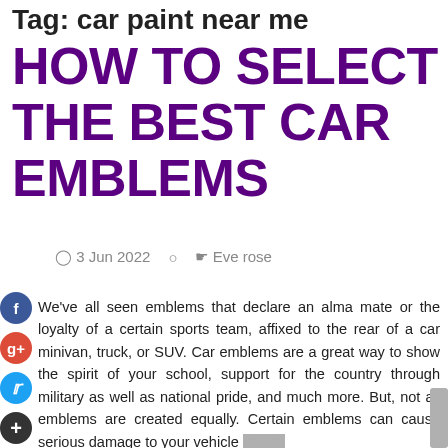Tag: car paint near me
HOW TO SELECT THE BEST CAR EMBLEMS
3 Jun 2022   Eve rose
We've all seen emblems that declare an alma mate or the loyalty of a certain sports team, affixed to the rear of a car minivan, truck, or SUV. Car emblems are a great way to show the spirit of your school, support for the country through military as well as national pride, and much more. But, not all emblems are created equally. Certain emblems can cause serious damage to your vehicle should you choose to take them off. How do you select the best choice for